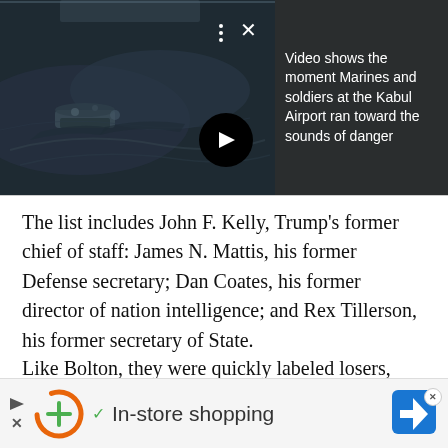[Figure (screenshot): Video thumbnail showing aerial/dark military footage of Kabul Airport, with controls (dots menu, X close button, play arrow button). Adjacent dark panel shows video title text in white.]
Video shows the moment Marines and soldiers at the Kabul Airport ran toward the sounds of danger
The list includes John F. Kelly, Trump's former chief of staff: James N. Mattis, his former Defense secretary; Dan Coates, his former director of nation intelligence; and Rex Tillerson, his former secretary of State.
Like Bolton, they were quickly labeled losers, liars or worse by the man who once lavishly praised their
[Figure (screenshot): Advertisement banner at bottom: shows a play/arrow icon, an X close button, a circular logo with D and plus sign in orange, a green checkmark, and the text 'In-store shopping', plus a blue diamond navigation icon on the right.]